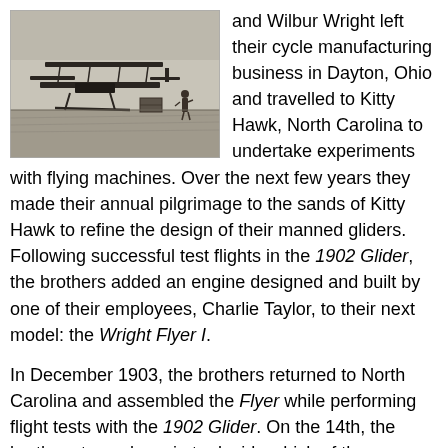[Figure (photo): Historical black and white photograph of the Wright Brothers' aircraft on the ground with a person standing nearby, taken at Kitty Hawk.]
and Wilbur Wright left their cycle manufacturing business in Dayton, Ohio and travelled to Kitty Hawk, North Carolina to undertake experiments with flying machines. Over the next few years they made their annual pilgrimage to the sands of Kitty Hawk to refine the design of their manned gliders. Following successful test flights in the 1902 Glider, the brothers added an engine designed and built by one of their employees, Charlie Taylor, to their next model: the Wright Flyer I.
In December 1903, the brothers returned to North Carolina and assembled the Flyer while performing flight tests with the 1902 Glider. On the 14th, the brothers tossed a coin to decide which of them should pilot the Flyer for its maiden flight. Wilbur won, but he stalled the plane after pulling up too sharply.
Fortunately the aircraft did not suffer any major damage and was ready for another test flight within days. On 17th December 1903, Orville took his chance to make history. The